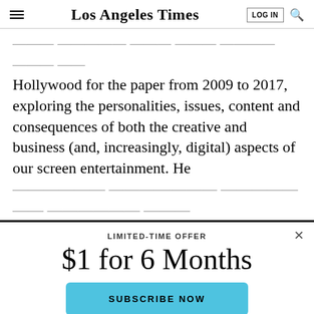Los Angeles Times
... who has covered the Los Angeles-Hollywood for the paper from 2009 to 2017, exploring the personalities, issues, content and consequences of both the creative and business (and, increasingly, digital) aspects of our screen entertainment. He previously covered entertainment beats at Variety and
LIMITED-TIME OFFER
$1 for 6 Months
SUBSCRIBE NOW
By continuing to use our site, you agree to our Terms of Service and Privacy Policy. You can learn more about how we use cookies by reviewing our Privacy Policy. Close